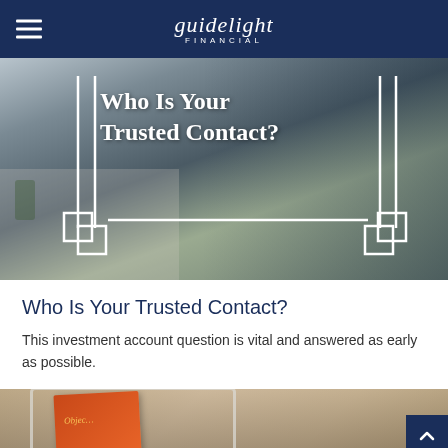guidelight FINANCIAL
[Figure (photo): Two women talking and smiling, with decorative white frame overlay and bold white text reading 'Who Is Your Trusted Contact?']
Who Is Your Trusted Contact?
This investment account question is vital and answered as early as possible.
[Figure (photo): Close-up of a tablet or book with orange cover on a wooden surface, partially visible at the bottom of the page]